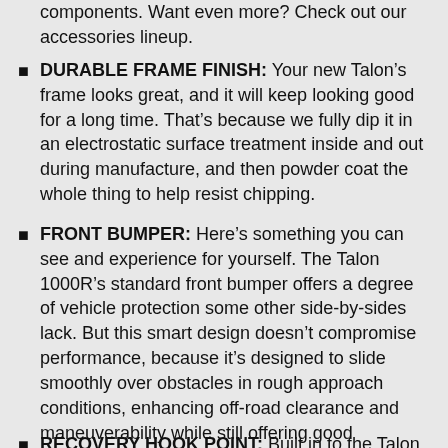components. Want even more? Check out our accessories lineup.
DURABLE FRAME FINISH: Your new Talon’s frame looks great, and it will keep looking good for a long time. That’s because we fully dip it in an electrostatic surface treatment inside and out during manufacture, and then powder coat the whole thing to help resist chipping.
FRONT BUMPER: Here’s something you can see and experience for yourself. The Talon 1000R’s standard front bumper offers a degree of vehicle protection some other side-by-sides lack. But this smart design doesn’t compromise performance, because it’s designed to slide smoothly over obstacles in rough approach conditions, enhancing off-road clearance and maneuverability while still offering good protection.
RECOVERY HOOK POINT: Built in to the Talon